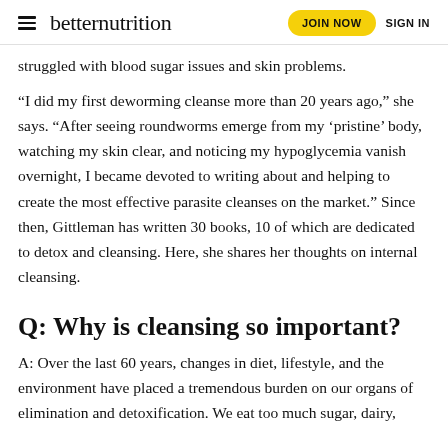betternutrition | JOIN NOW | SIGN IN
struggled with blood sugar issues and skin problems.
“I did my first deworming cleanse more than 20 years ago,” she says. “After seeing roundworms emerge from my ‘pristine’ body, watching my skin clear, and noticing my hypoglycemia vanish overnight, I became devoted to writing about and helping to create the most effective parasite cleanses on the market.” Since then, Gittleman has written 30 books, 10 of which are dedicated to detox and cleansing. Here, she shares her thoughts on internal cleansing.
Q: Why is cleansing so important?
A: Over the last 60 years, changes in diet, lifestyle, and the environment have placed a tremendous burden on our organs of elimination and detoxification. We eat too much sugar, dairy,